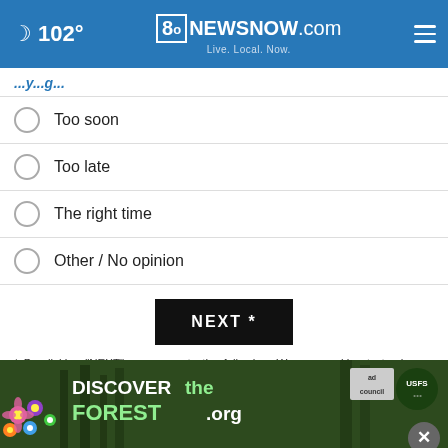8 News Now · 102° · 8NewsNow.com · Live. Local. Now.
...y...g...
Too soon
Too late
The right time
Other / No opinion
NEXT *
* By clicking "NEXT" you agree to the following: We use cookies to track your survey answers. If you would like to continue with this survey, please read and agree to the CivicScience Privacy Policy and Terms of Service
[Figure (illustration): Advertisement banner for DiscoverTheForest.org showing colorful flowers on left, forest background, ad council and US Forest Service badges on right.]